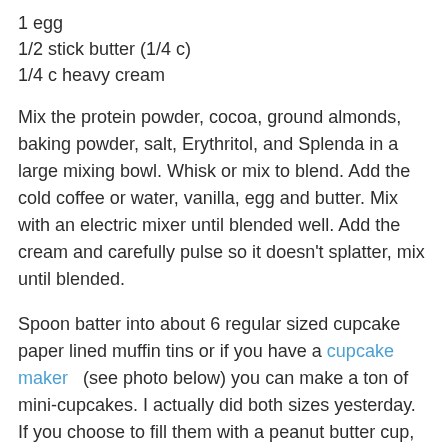1 egg
1/2 stick butter (1/4 c)
1/4 c heavy cream
Mix the protein powder, cocoa, ground almonds, baking powder, salt, Erythritol, and Splenda in a large mixing bowl.  Whisk or mix to blend.  Add the cold coffee or water, vanilla, egg and butter.  Mix with an electric mixer until blended well.  Add the cream and carefully pulse so it doesn't splatter, mix until blended.
Spoon batter into about 6 regular sized cupcake paper lined muffin tins or if you have a cupcake maker   (see photo below) you can make a ton of mini-cupcakes.  I actually did both sizes yesterday.  If you choose to fill them with a peanut butter cup, only fill them 2/3 full and press a candy in the center.  For the rest, you can fill about 3/4 full or to the top as they will fall while cooling to a flat top (they don't stay peaked like sugar and flour cupcakes do).
Bake at 350 until the centers are done (or in your mini cupcake maker according to directions, which is about 5